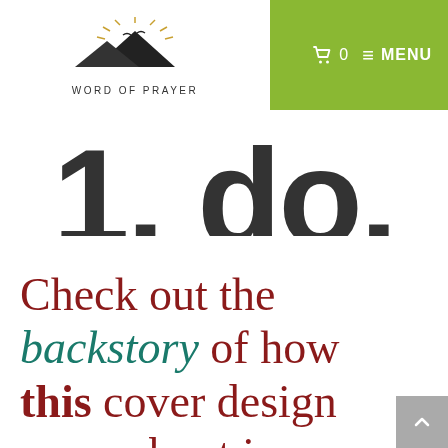[Figure (logo): Word of Prayer logo with mountain silhouette and rays, text WORD OF PRAYER below]
0  MENU
[Figure (other): Partial large bold text showing '1. do.' cut off at top of content area]
Check out the backstory of how this cover design came about in my